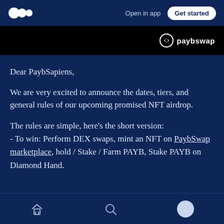Open in app | Get started
[Figure (logo): paybswap logo banner on black background]
Dear PaybSapiens,
We are very excited to announce the dates, tiers, and general rules of our upcoming promised NFT airdrop.
The rules are simple, here’s the short version:
- To win: Perform DEX swaps, mint an NFT on PaybSwap marketplace, hold / Stake / Farm PAYB, Stake PAYB on Diamond Hand.
Home | Search | Profile